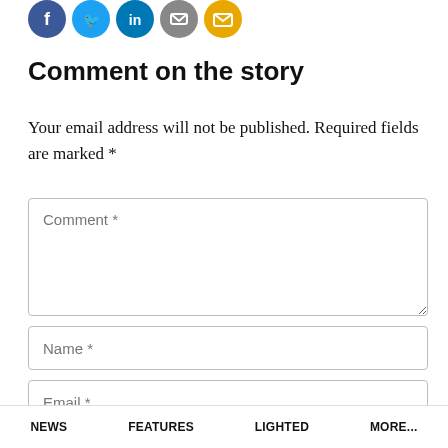[Figure (other): Row of five social media share icon circles: Facebook (blue), Twitter (light blue), LinkedIn (dark blue), share/other (grey), email (yellow/gold)]
Comment on the story
Your email address will not be published. Required fields are marked *
Comment *
Name *
Email *
NEWS   FEATURES   LIGHTED   MORE...